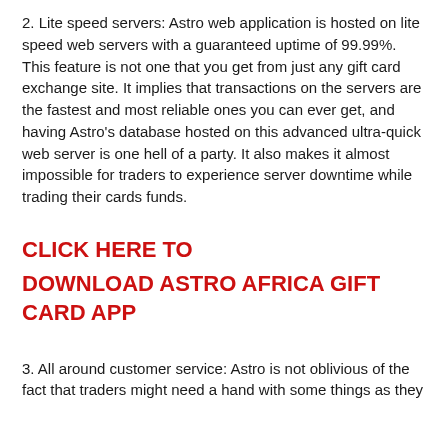2. Lite speed servers: Astro web application is hosted on lite speed web servers with a guaranteed uptime of 99.99%. This feature is not one that you get from just any gift card exchange site. It implies that transactions on the servers are the fastest and most reliable ones you can ever get, and having Astro's database hosted on this advanced ultra-quick web server is one hell of a party. It also makes it almost impossible for traders to experience server downtime while trading their cards funds.
CLICK HERE TO
DOWNLOAD ASTRO AFRICA GIFT CARD APP
3. All around customer service: Astro is not oblivious of the fact that traders might need a hand with some things as they go about their trading 24/7...